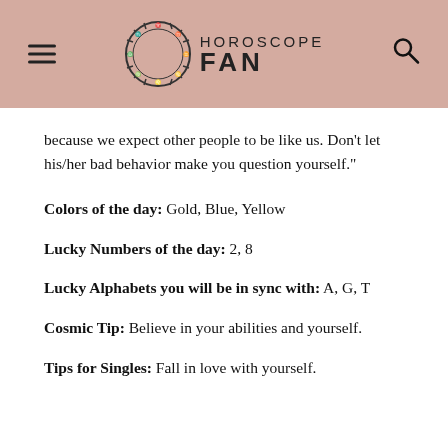HOROSCOPE FAN
because we expect other people to be like us. Don't let his/her bad behavior make you question yourself."
Colors of the day: Gold, Blue, Yellow
Lucky Numbers of the day: 2, 8
Lucky Alphabets you will be in sync with: A, G, T
Cosmic Tip: Believe in your abilities and yourself.
Tips for Singles: Fall in love with yourself.